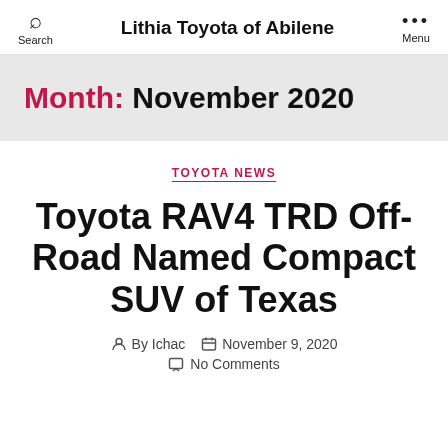Lithia Toyota of Abilene
Month: November 2020
TOYOTA NEWS
Toyota RAV4 TRD Off-Road Named Compact SUV of Texas
By Ichac  November 9, 2020
No Comments